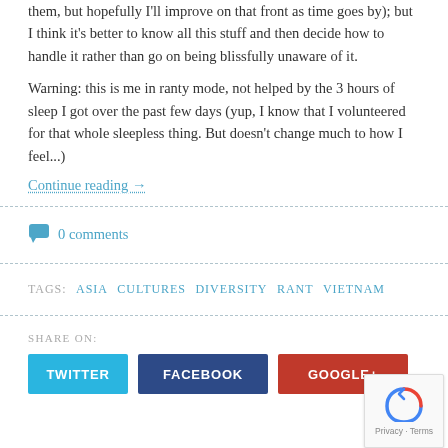them, but hopefully I'll improve on that front as time goes by); but I think it's better to know all this stuff and then decide how to handle it rather than go on being blissfully unaware of it.
Warning: this is me in ranty mode, not helped by the 3 hours of sleep I got over the past few days (yup, I know that I volunteered for that whole sleepless thing. But doesn't change much to how I feel...)
Continue reading →
0 comments
TAGS: ASIA CULTURES DIVERSITY RANT VIETNAM
SHARE ON:
TWITTER FACEBOOK GOOGLE+